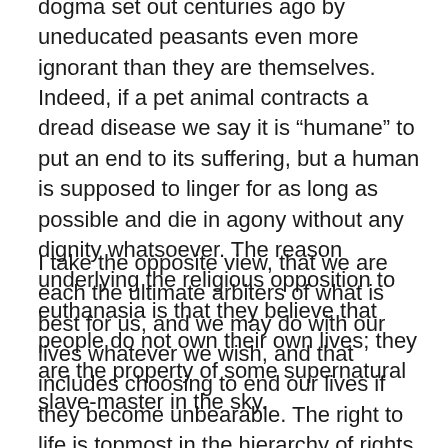dogma set out centuries ago by uneducated peasants even more ignorant than they are themselves. Indeed, if a pet animal contracts a dread disease we say it is “humane” to put an end to its suffering, but a human is supposed to linger for as long as possible and die in agony without any dignity whatsoever. The reason underlying the religious opposition to euthanasia is that they believe that people do not own their own lives; they are the property of some supernatural slave-master in the sky.
I take the opposite view, that we are each the ultimate arbiters of what is best for us, and we may do with our lives whatever we wish, and that includes choosing to end our lives if they become unbearable. The right to life is topmost in the hierarchy of rights enshrined in the constitutions of all enlightened states, which means the